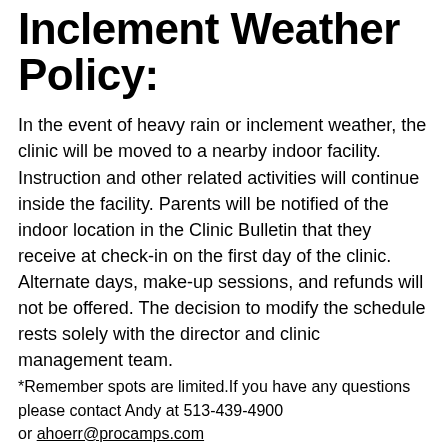Inclement Weather Policy:
In the event of heavy rain or inclement weather, the clinic will be moved to a nearby indoor facility. Instruction and other related activities will continue inside the facility. Parents will be notified of the indoor location in the Clinic Bulletin that they receive at check-in on the first day of the clinic. Alternate days, make-up sessions, and refunds will not be offered. The decision to modify the schedule rests solely with the director and clinic management team.
*Remember spots are limited.If you have any questions please contact Andy at 513-439-4900 or ahoerr@procamps.com